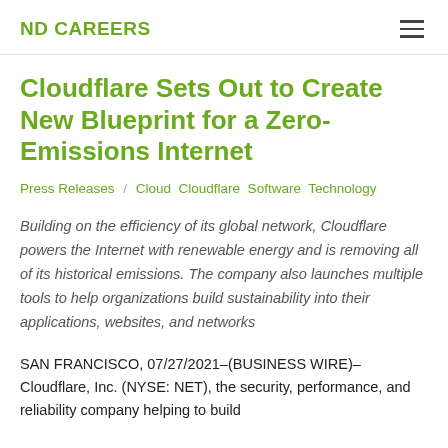ND CAREERS
Cloudflare Sets Out to Create New Blueprint for a Zero-Emissions Internet
Press Releases / Cloud  Cloudflare  Software  Technology
Building on the efficiency of its global network, Cloudflare powers the Internet with renewable energy and is removing all of its historical emissions. The company also launches multiple tools to help organizations build sustainability into their applications, websites, and networks
SAN FRANCISCO, 07/27/2021–(BUSINESS WIRE)– Cloudflare, Inc. (NYSE: NET), the security, performance, and reliability company helping to build